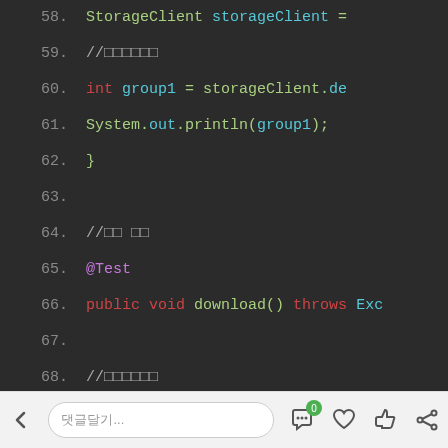[Figure (screenshot): Java code editor screenshot with dark background showing lines 58-75 of code with syntax highlighting. Lines include StorageClient, int group1, System.out.println, @Test annotation, public void download() throws Exception, byte[] bytes, File file, FileOutputStream, BufferedOutputStream declarations.]
댓글달기...
0